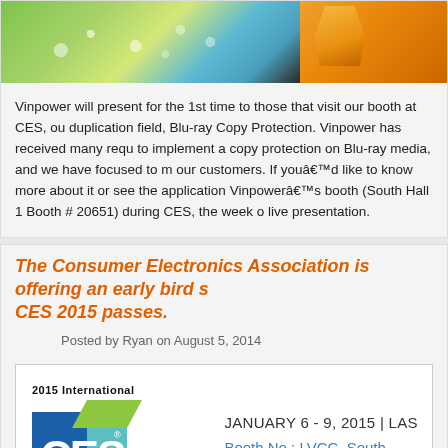[Figure (photo): Image strip showing green/blue Blu-ray/media imagery on left and orange product on right]
Vinpower will present for the 1st time to those that visit our booth at CES, ou duplication field, Blu-ray Copy Protection. Vinpower has received many requ to implement a copy protection on Blu-ray media, and we have focused to m our customers. If youâd like to know more about it or see the application Vinpowerâs booth (South Hall 1 Booth # 20651) during CES, the week o live presentation.
The Consumer Electronics Association is offering an early bird s CES 2015 passes.
Posted by Ryan on August 5, 2014
[Figure (photo): CES 2015 banner showing logo, dates January 6-9 2015 LAS VEGAS, and booth information LVCC South Hall]